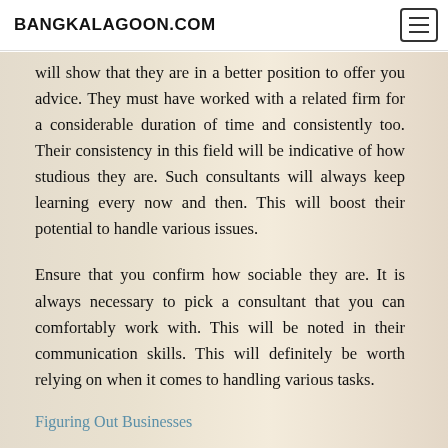BANGKALAGOON.COM
will show that they are in a better position to offer you advice. They must have worked with a related firm for a considerable duration of time and consistently too. Their consistency in this field will be indicative of how studious they are. Such consultants will always keep learning every now and then. This will boost their potential to handle various issues.
Ensure that you confirm how sociable they are. It is always necessary to pick a consultant that you can comfortably work with. This will be noted in their communication skills. This will definitely be worth relying on when it comes to handling various tasks.
Figuring Out Businesses